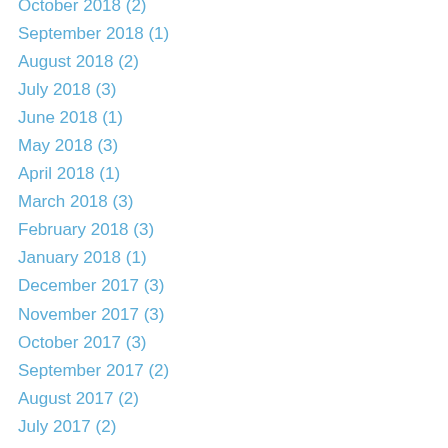October 2018 (2)
September 2018 (1)
August 2018 (2)
July 2018 (3)
June 2018 (1)
May 2018 (3)
April 2018 (1)
March 2018 (3)
February 2018 (3)
January 2018 (1)
December 2017 (3)
November 2017 (3)
October 2017 (3)
September 2017 (2)
August 2017 (2)
July 2017 (2)
June 2017 (2)
May 2017 (4)
April 2017 (3)
March 2017 (3)